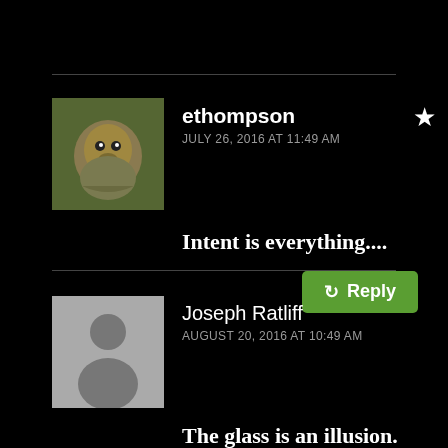ethompson
JULY 26, 2016 AT 11:49 AM
Intent is everything....
Reply
Joseph Ratliff
AUGUST 20, 2016 AT 10:49 AM
The glass is an illusion.

To put it in “real” terms, almost any “binary” thinking is an illusion, and usually a